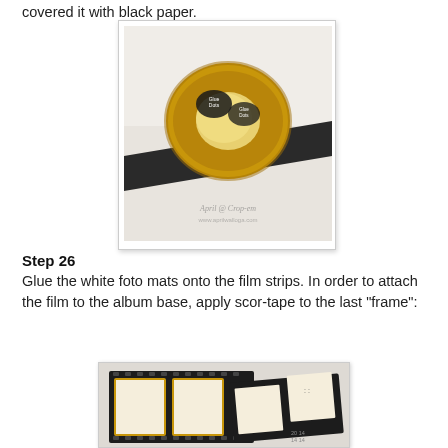covered it with black paper.
[Figure (photo): A roll of yellow Glue Dots tape sitting on top of a strip of black paper/cardstock, on a white surface. Watermark text visible in lower right area of the photo.]
Step 26
Glue the white foto mats onto the film strips. In order to attach the film to the album base, apply scor-tape to the last "frame":
[Figure (photo): A close-up of a film strip craft project showing dark black film strip frames with white photo mats glued inside, showing aged/distressed edges with gold/brown tones.]